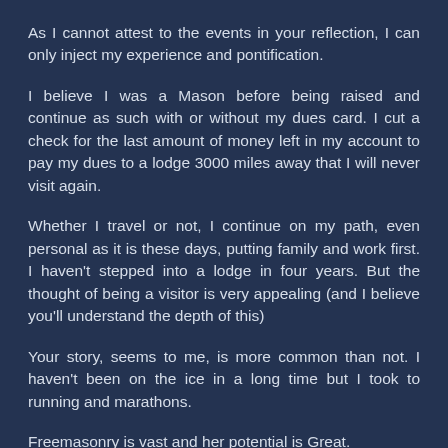As I cannot attest to the events in your reflection, I can only inject my experience and pontification.
I believe I was a Mason before being raised and continue as such with or without my dues card. I cut a check for the last amount of money left in my account to pay my dues to a lodge 3000 miles away that I will never visit again.
Whether I travel or not, I continue on my path, even personal as it is these days, putting family and work first. I haven't stepped into a lodge in four years. But the thought of being a visitor is very appealing (and I believe you'll understand the depth of this)
Your story, seems to me, is more common than not. I haven't been on the ice in a long time but I took to running and marathons.
Freemasonry is vast and her potential is Great.
Anyway, wish you the best!